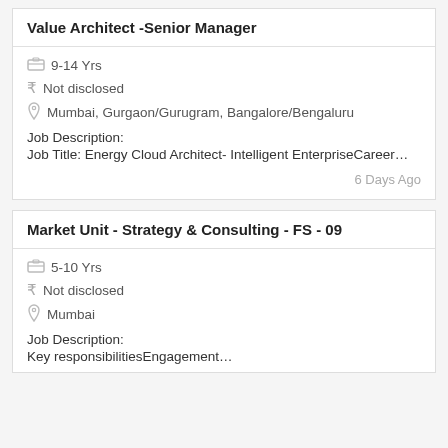Value Architect -Senior Manager
9-14 Yrs
Not disclosed
Mumbai, Gurgaon/Gurugram, Bangalore/Bengaluru
Job Description:
Job Title: Energy Cloud Architect- Intelligent EnterpriseCareer…
6 Days Ago
Market Unit - Strategy & Consulting - FS - 09
5-10 Yrs
Not disclosed
Mumbai
Job Description:
Key responsibilitiesEngagement…